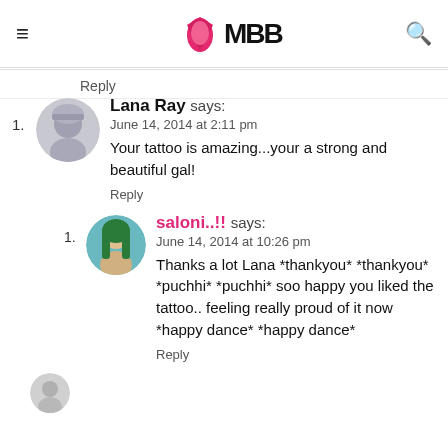IMBB logo with hamburger menu and search icon
Reply
1. Lana Ray says:
June 14, 2014 at 2:11 pm
Your tattoo is amazing...your a strong and beautiful gal!
Reply
1. saloni..!! says:
June 14, 2014 at 10:26 pm
Thanks a lot Lana *thankyou* *thankyou* *puchhi* *puchhi* soo happy you liked the tattoo.. feeling really proud of it now *happy dance* *happy dance*
Reply